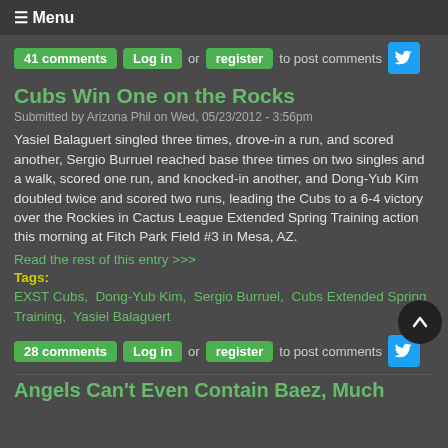☰ Menu
41 comments  Log in or register to post comments
Cubs Win One on the Rocks
Submitted by Arizona Phil on Wed, 05/23/2012 - 3:56pm
Yasiel Balaguert singled three times, drove-in a run, and scored another, Sergio Burruel reached base three times on two singles and a walk, scored one run, and knocked-in another, and Dong-Yub Kim doubled twice and scored two runs, leading the Cubs to a 6-4 victory over the Rockies in Cactus League Extended Spring Training action this morning at Fitch Park Field #3 in Mesa, AZ.
Read the rest of this entry >>>
Tags:
EXST Cubs,  Dong-Yub Kim,  Sergio Burruel,  Cubs Extended Spring Training,  Yasiel Balaguert
28 comments  Log in or register to post comments
Angels Can't Even Contain Baez, Much